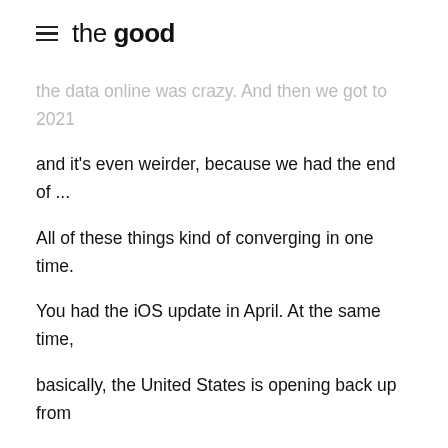the good
the data online was crazy. And then we got to 2021 and it's even weirder, because we had the end of ... All of these things kind of converging in one time. You had the iOS update in April. At the same time, basically, the United States is opening back up from pandemic lockdown and that's causing all kinds of chaos in addition to the iOS. So if we start with the iOS, because in the data I'm seeing, that kind of came first, but at least it was a bigger line in the sand, because opening was kind of a gradual thing. But the iOS thing, it basically, Facebook kind of got slapped around by Apple because Facebook has a lot of creepy data already, but they were doing a lot of creepy things that Apple who saw what was happening and basically said, "Yeah, you probably